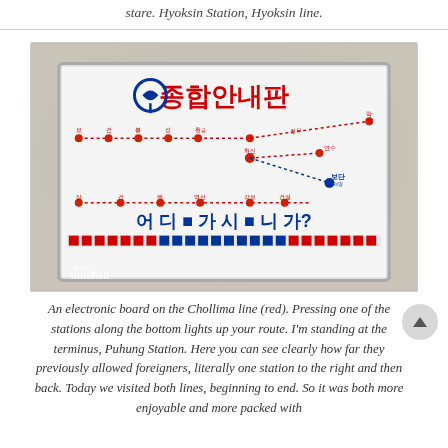stare. Hyoksin Station, Hyoksin line.
[Figure (photo): An electronic subway/metro route map board (종합안내판) on the Chollima line in Pyongyang, North Korea. The white board shows metro lines in red and blue dotted lines with Korean station names, and a row of buttons along the bottom. Watermark: earth nutshell.]
An electronic board on the Chollima line (red). Pressing one of the stations along the bottom lights up your route. I'm standing at the terminus, Puhung Station. Here you can see clearly how far they previously allowed foreigners, literally one station to the right and then back. Today we visited both lines, beginning to end. So it was both more enjoyable and more packed with